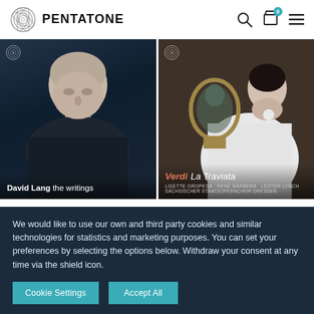PENTATONE
[Figure (photo): Album cover: David Lang 'the writings' - black and white portrait of a bald man in dark clothing]
[Figure (photo): Album cover: Verdi La Traviata - woman in white dress with ornate mirror, featuring Lisette Oropesa, René Barbera, Lester Lynch, Sächsischer Staatsopernchor Dresden]
We would like to use our own and third party cookies and similar technologies for statistics and marketing purposes. You can set your preferences by selecting the options below. Withdraw your consent at any time via the shield icon.
Cookie Settings
Accept All